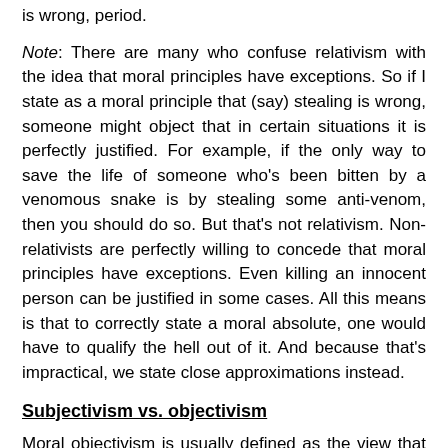is wrong, period.
Note: There are many who confuse relativism with the idea that moral principles have exceptions. So if I state as a moral principle that (say) stealing is wrong, someone might object that in certain situations it is perfectly justified. For example, if the only way to save the life of someone who's been bitten by a venomous snake is by stealing some anti-venom, then you should do so. But that's not relativism. Non-relativists are perfectly willing to concede that moral principles have exceptions. Even killing an innocent person can be justified in some cases. All this means is that to correctly state a moral absolute, one would have to qualify the hell out of it. And because that's impractical, we state close approximations instead.
Subjectivism vs. objectivism
Moral objectivism is usually defined as the view that there are moral facts that do not depend on any particular